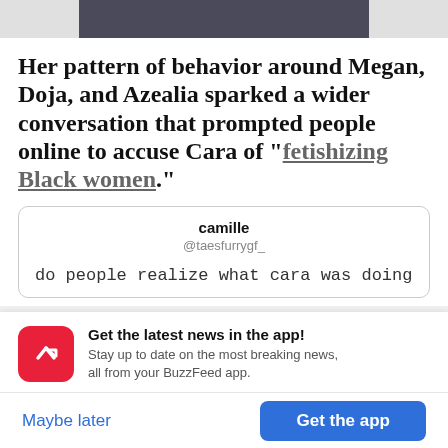[Figure (photo): Partial image visible at top of screen, dark/navy toned photo cropped to a narrow strip]
Her pattern of behavior around Megan, Doja, and Azealia sparked a wider conversation that prompted people online to accuse Cara of “fetishizing Black women.”
camille @taesfurrygf_

do people realize what cara was doing
Get the latest news in the app! Stay up to date on the most breaking news, all from your BuzzFeed app.
Maybe later
Get the app